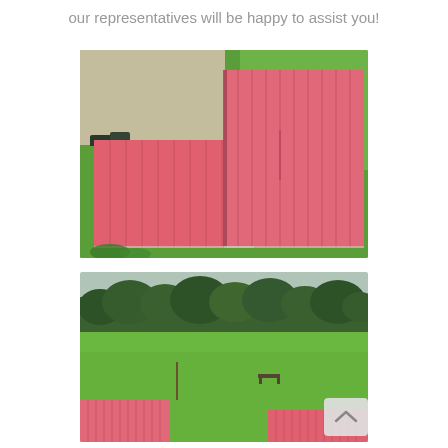our representatives will be happy to assist you!
[Figure (photo): Aerial drone view of a metal building with pink/red corrugated roof panels showing an L-shape or stepped roofline, surrounded by green grass and a gravel/dirt area to the upper left with some parked equipment.]
[Figure (photo): Ground-level or low aerial view of a property with a pink/red metal roof building in the foreground, a large green lawn, trees in the background, and a small bench visible on the grass.]